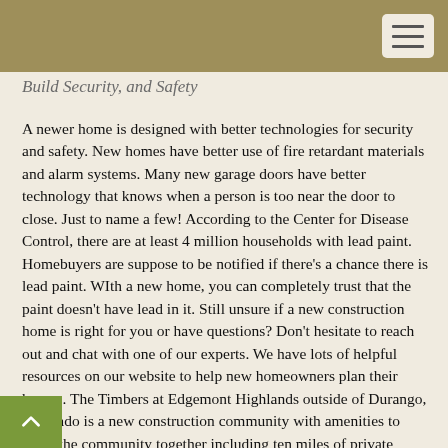Build Security, and Safety
A newer home is designed with better technologies for security and safety. New homes have better use of fire retardant materials and alarm systems. Many new garage doors have better technology that knows when a person is too near the door to close. Just to name a few!
According to the Center for Disease Control, there are at least 4 million households with lead paint. Homebuyers are suppose to be notified if there's a chance there is lead paint. WIth a new home, you can completely trust that the paint doesn't have lead in it.
Still unsure if a new construction home is right for you or have questions? Don't hesitate to reach out and chat with one of our experts. We have lots of helpful resources on our website to help new homeowners plan their homes.
The Timbers at Edgemont Highlands outside of Durango, Colorado is a new construction community with amenities to bring the community together including ten miles of private